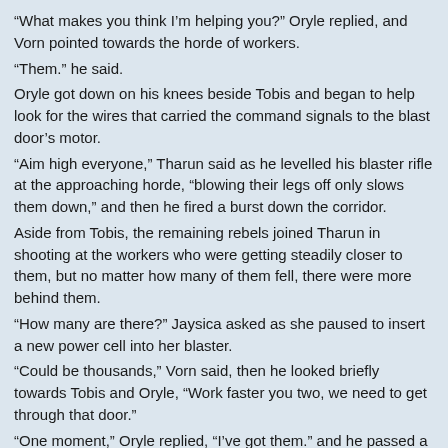“What makes you think I’m helping you?” Oryle replied, and Vorn pointed towards the horde of workers.
“Them.” he said.
Oryle got down on his knees beside Tobis and began to help look for the wires that carried the command signals to the blast door’s motor.
“Aim high everyone,” Tharun said as he levelled his blaster rifle at the approaching horde, “blowing their legs off only slows them down,” and then he fired a burst down the corridor.
Aside from Tobis, the remaining rebels joined Tharun in shooting at the workers who were getting steadily closer to them, but no matter how many of them fell, there were more behind them.
“How many are there?” Jaysica asked as she paused to insert a new power cell into her blaster.
“Could be thousands,” Vorn said, then he looked briefly towards Tobis and Oryle, “Work faster you two, we need to get through that door.”
“One moment,” Oryle replied, “I’ve got them.” and he passed a pair of wires to Tobis who connected them to his datapad.
A moment later there was a hiss as the blast door’s seals released and then it began to open slowly.
“We’ve done it,” Oryle said, dashing to the centre of the door where its different segments were moving apart to create a steadily growing opening.
“Wait, be careful,” Tobis tried to warn Oryle, but he was too late to prevent the lieutenant from being grabbed by an arm that reached out from the other side of the door.